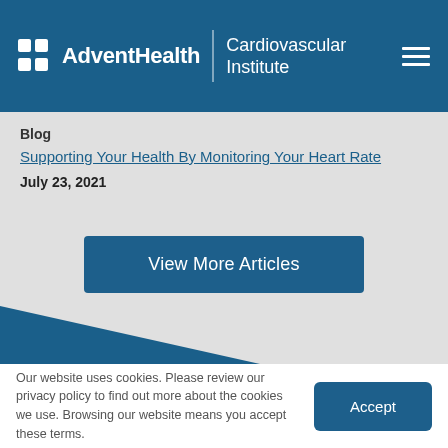AdventHealth | Cardiovascular Institute
Blog
Supporting Your Health By Monitoring Your Heart Rate
July 23, 2021
View More Articles
Our website uses cookies. Please review our privacy policy to find out more about the cookies we use. Browsing our website means you accept these terms.
Accept